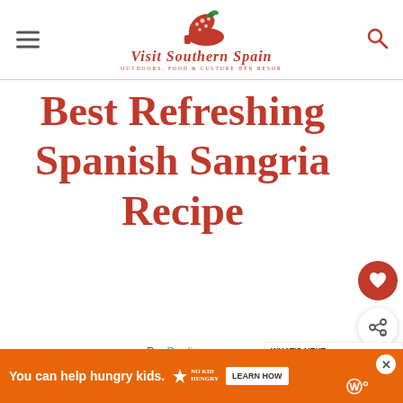Visit Southern Spain - OUTDOORS, FOOD & CULTURE DEN RESOR
Best Refreshing Spanish Sangria Recipe
By: Paulina
Published: May 18, 2022 - Last updated: July 28, 2022
Drinks
WHAT'S NEXT → Appetizing Spanish-Styl...
You can help hungry kids. NO KID HUNGRY LEARN HOW